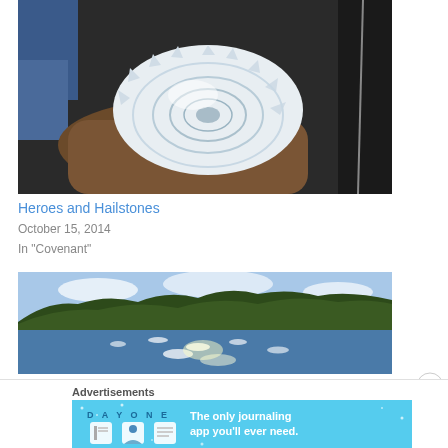[Figure (photo): Close-up of a large hailstone with spiky edges and concentric ring pattern, held in a gloved hand against a dark background]
Heroes and Hailstones
October 15, 2014
In "Covenant"
[Figure (photo): Scenic lake view with sunlight sparkling on water, forested hills in background under a partly cloudy sky]
Advertisements
[Figure (other): DAY ONE app advertisement banner - 'The only journaling app you'll ever need.' with illustrated icons on light blue background]